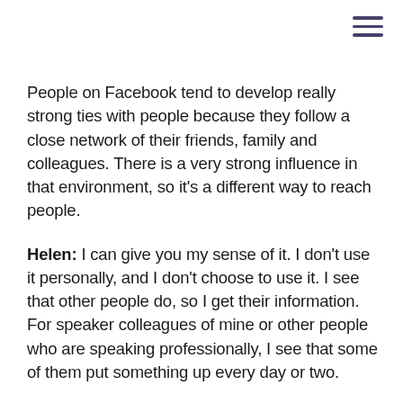[Figure (other): Hamburger menu icon (three horizontal purple lines) in top-right corner]
People on Facebook tend to develop really strong ties with people because they follow a close network of their friends, family and colleagues. There is a very strong influence in that environment, so it's a different way to reach people.
Helen: I can give you my sense of it. I don't use it personally, and I don't choose to use it. I see that other people do, so I get their information. For speaker colleagues of mine or other people who are speaking professionally, I see that some of them put something up every day or two.
I'm actually beginning to learn about